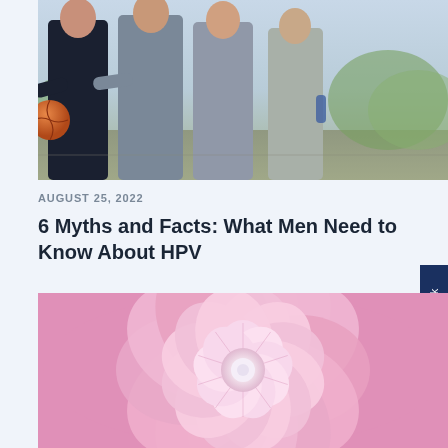[Figure (photo): Group of young men outdoors, one holding a basketball, walking together on a sunny day]
AUGUST 25, 2022
6 Myths and Facts: What Men Need to Know About HPV
[Figure (photo): Close-up macro photograph of a pink ranunculus flower with spiraling petals]